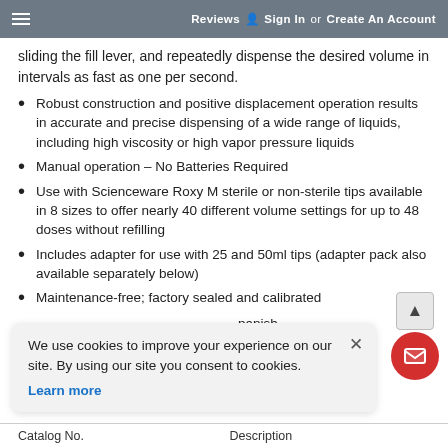Reviews  Sign In or Create An Account
sliding the fill lever, and repeatedly dispense the desired volume in intervals as fast as one per second.
Robust construction and positive displacement operation results in accurate and precise dispensing of a wide range of liquids, including high viscosity or high vapor pressure liquids
Manual operation – No Batteries Required
Use with Scienceware Roxy M sterile or non-sterile tips available in 8 sizes to offer nearly 40 different volume settings for up to 48 doses without refilling
Includes adapter for use with 25 and 50ml tips (adapter pack also available separately below)
Maintenance-free; factory sealed and calibrated
We use cookies to improve your experience on our site. By using our site you consent to cookies. Learn more
| Catalog No. | Description |
| --- | --- |